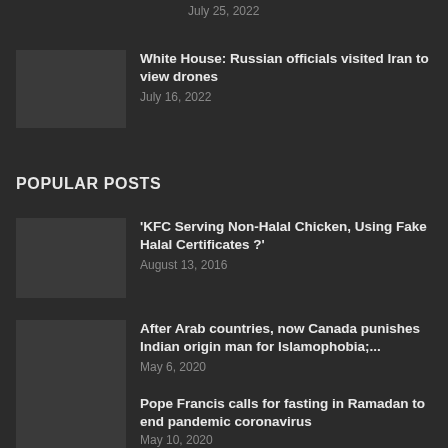July 25, 2022
White House: Russian officials visited Iran to view drones
July 16, 2022
POPULAR POSTS
'KFC Serving Non-Halal Chicken, Using Fake Halal Certificates ?'
August 13, 2016
After Arab countries, now Canada punishes Indian origin man for Islamophobia;...
May 6, 2020
Pope Francis calls for fasting in Ramadan to end pandemic coronavirus
May 10, 2020